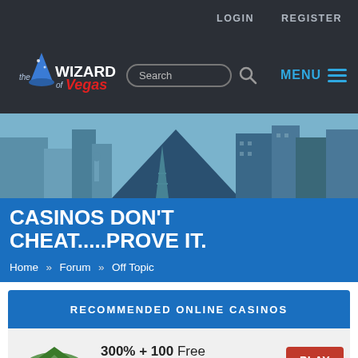LOGIN   REGISTER
[Figure (logo): The Wizard of Vegas logo with wizard hat icon, search box, and MENU button on dark navy background]
[Figure (illustration): Illustrated Las Vegas skyline banner with stylized blue buildings including Luxor pyramid, Eiffel Tower replica, and skyscrapers]
CASINOS DON'T CHEAT.....PROVE IT.
Home » Forum » Off Topic
RECOMMENDED ONLINE CASINOS
300% + 100 Free Spins